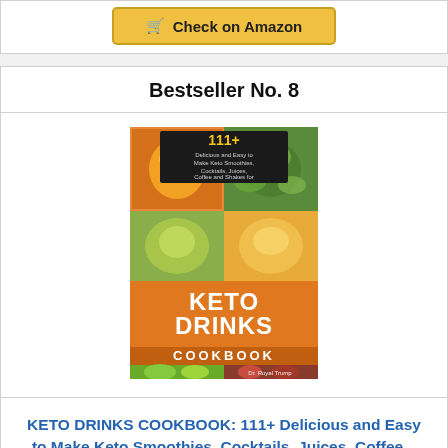🛒 Check on Amazon
Bestseller No. 8
[Figure (illustration): Book cover for KETO DRINKS COOKBOOK showing food and drink photos with orange band and title text, by Dr. Royal Trump]
KETO DRINKS COOKBOOK: 111+ Delicious and Easy to Make Keto Smoothies, Cocktails, Juices, Coffee...
🛒 Check on Amazon